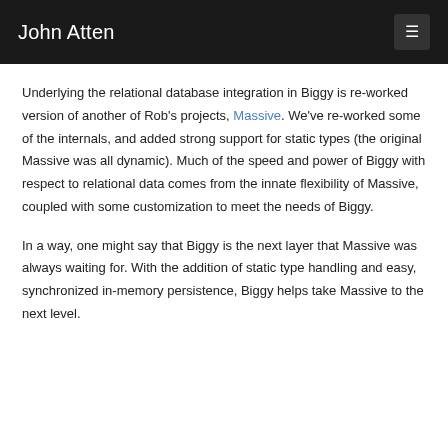John Atten
Underlying the relational database integration in Biggy is re-worked version of another of Rob's projects, Massive. We've re-worked some of the internals, and added strong support for static types (the original Massive was all dynamic). Much of the speed and power of Biggy with respect to relational data comes from the innate flexibility of Massive, coupled with some customization to meet the needs of Biggy.
In a way, one might say that Biggy is the next layer that Massive was always waiting for. With the addition of static type handling and easy, synchronized in-memory persistence, Biggy helps take Massive to the next level.